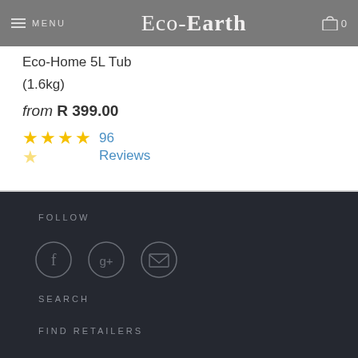≡ MENU  Eco-Earth  🛒 0
Eco-Home 5L Tub (1.6kg)
from R 399.00
96 Reviews (4.5 stars)
FOLLOW
[Figure (other): Social media icons: Facebook, Google+, Email]
SEARCH
FIND RETAILERS